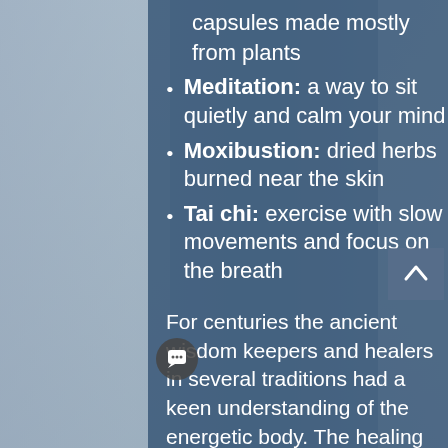capsules made mostly from plants
Meditation: a way to sit quietly and calm your mind
Moxibustion: dried herbs burned near the skin
Tai chi: exercise with slow movements and focus on the breath
For centuries the ancient wisdom keepers and healers in several traditions had a keen understanding of the energetic body. The healing traditions from China, India, Japan and Tibet, as well as